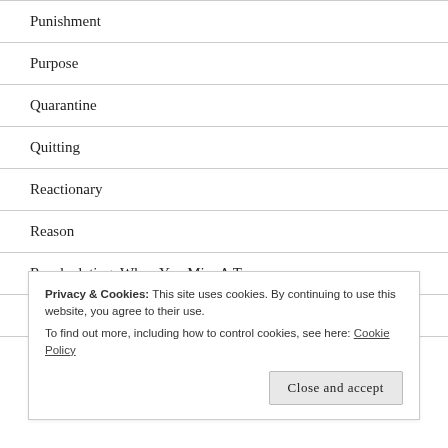Punishment
Purpose
Quarantine
Quitting
Reactionary
Reason
Recalculating: When You Miss A Turn
Redemption
Privacy & Cookies: This site uses cookies. By continuing to use this website, you agree to their use.
To find out more, including how to control cookies, see here: Cookie Policy
Close and accept